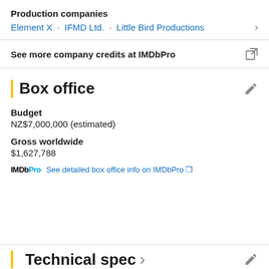Production companies
Element X · IFMD Ltd. · Little Bird Productions
See more company credits at IMDbPro
Box office
Budget
NZ$7,000,000 (estimated)
Gross worldwide
$1,627,788
IMDbPro  See detailed box office info on IMDbPro
Technical specs